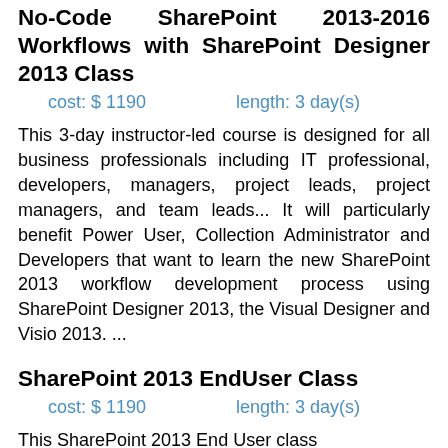No-Code SharePoint 2013-2016 Workflows with SharePoint Designer 2013 Class
cost: $ 1190    length: 3 day(s)
This 3-day instructor-led course is designed for all business professionals including IT professional, developers, managers, project leads, project managers, and team leads... It will particularly benefit Power User, Collection Administrator and Developers that want to learn the new SharePoint 2013 workflow development process using SharePoint Designer 2013, the Visual Designer and Visio 2013. ...
SharePoint 2013 EndUser Class
cost: $ 1190    length: 3 day(s)
This SharePoint 2013 End User class